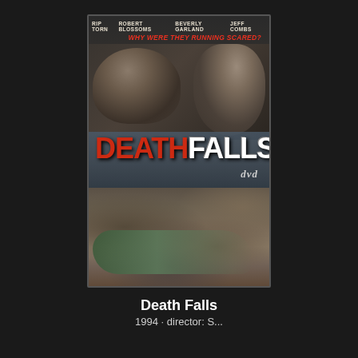[Figure (photo): DVD cover for the movie 'Death Falls' featuring actors Rip Torn, Robert Blossoms, Beverly Garland, Jeff Combs. The cover shows a man aiming a rifle on the left, another man on the right, the movie title 'DEATH FALLS' in large red and white letters, a DVD logo, and a person lying on rocks at the bottom. Tagline reads 'WHY WERE THEY RUNNING SCARED?']
Death Falls
1994 · director: S...